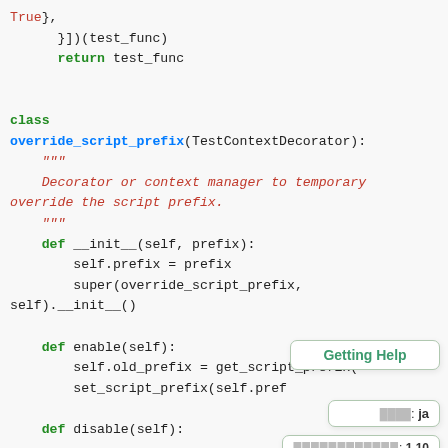True},
    }])(test_func)
    return test_func


class override_script_prefix(TestContextDecorator):
    """
    Decorator or context manager to temporary override the script prefix.
    """
    def __init__(self, prefix):
        self.prefix = prefix
        super(override_script_prefix, self).__init__()

    def enable(self):
        self.old_prefix = get_script_prefix()
        set_script_prefix(self.pref

    def disable(self):